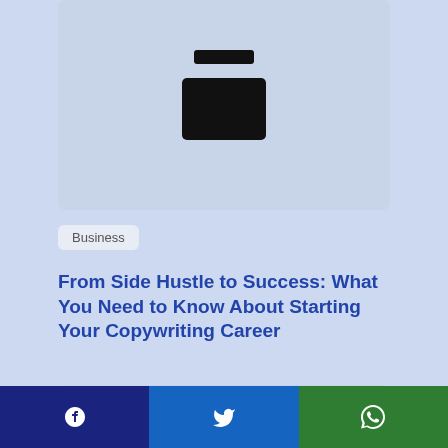[Figure (illustration): Card with a dark stamp/block icon centered on a light grey-blue background]
Business
From Side Hustle to Success: What You Need to Know About Starting Your Copywriting Career
[Figure (illustration): Card showing a Google Sheets icon on the left and a Notion icon on the right, connected by a curving arrow above, on a light grey-blue background]
Facebook share | Twitter share | WhatsApp share